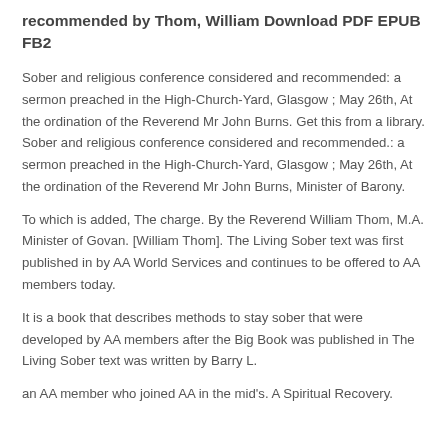recommended by Thom, William Download PDF EPUB FB2
Sober and religious conference considered and recommended: a sermon preached in the High-Church-Yard, Glasgow ; May 26th, At the ordination of the Reverend Mr John Burns. Get this from a library. Sober and religious conference considered and recommended.: a sermon preached in the High-Church-Yard, Glasgow ; May 26th, At the ordination of the Reverend Mr John Burns, Minister of Barony.
To which is added, The charge. By the Reverend William Thom, M.A. Minister of Govan. [William Thom]. The Living Sober text was first published in by AA World Services and continues to be offered to AA members today.
It is a book that describes methods to stay sober that were developed by AA members after the Big Book was published in The Living Sober text was written by Barry L.
an AA member who joined AA in the mid's. A Spiritual Recovery.